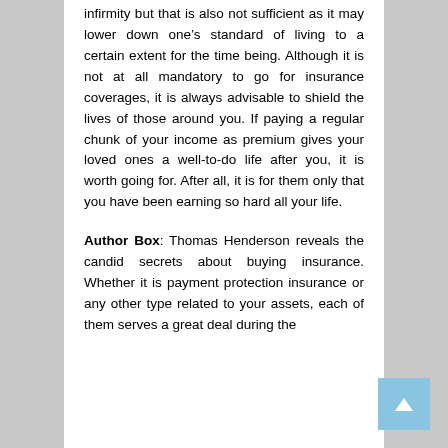infirmity but that is also not sufficient as it may lower down one's standard of living to a certain extent for the time being. Although it is not at all mandatory to go for insurance coverages, it is always advisable to shield the lives of those around you. If paying a regular chunk of your income as premium gives your loved ones a well-to-do life after you, it is worth going for. After all, it is for them only that you have been earning so hard all your life.
Author Box: Thomas Henderson reveals the candid secrets about buying insurance. Whether it is payment protection insurance or any other type related to your assets, each of them serves a great deal during the